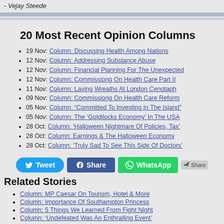- Vejay Steede
20 Most Recent Opinion Columns
19 Nov: Column: Discussing Health Among Nations
12 Nov: Column: Addressing Substance Abuse
12 Nov: Column: Financial Planning For The Unexpected
12 Nov: Column: Commissiong On Health Care Part II
11 Nov: Column: Laying Wreaths At London Cenotaph
09 Nov: Column: Commissiong On Health Care Reform
05 Nov: Column: "Committed To Investing In The Island"
05 Nov: Column: The 'Goldilocks Economy' In The USA
28 Oct: Column: 'Halloween Nightmare Of Policies, Tax'
28 Oct: Column: Earnings & The Halloween Economy
28 Oct: Column: 'Truly Sad To See This Side Of Doctors'
Related Stories
Column: MP Caesar On Tourism, Hotel & More
Column: Importance Of Southampton Princess
Column: 5 Things We Learned From Fight Night
Column: 'Undefeated Was An Enthralling Event'